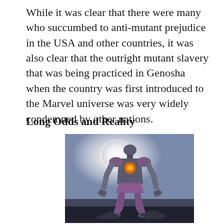While it was clear that there were many who succumbed to anti-mutant prejudice in the USA and other countries, it was also clear that the outright mutant slavery that was being practiced in Genosha when the country was first introduced to the Marvel universe was very widely condemned by other nations.
Long Odds and Reality
[Figure (illustration): A large muscular robotic/cyborg humanoid figure (Sentinel robot) standing in a dramatic pose against a blue-grey sky with a large glowing white moon behind it. The figure has a purple and dark grey color scheme with a glowing orange/yellow circular chest piece. The background suggests a destroyed or battle-worn environment.]